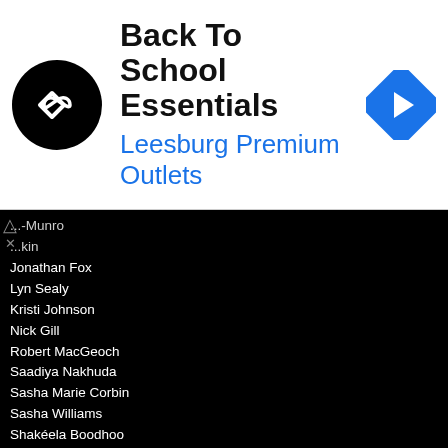[Figure (screenshot): Ad banner for Back To School Essentials at Leesburg Premium Outlets with circular black logo and blue navigation icon]
...al-Munro
...kin
Jonathan Fox
Lyn Sealy
Kristi Johnson
Nick Gill
Robert MacGeoch
Saadiya Nakhuda
Sasha Marie Corbin
Sasha Williams
Shakéela Boodhoo
Tara Thompson
Vanessa Gilkes
BERMUDA:
Jason D'General Sukdeo
Jumaane Davis
JAMAICA:
Alicia Camps-Ganess
Amanda Auboine
Andrew Bellamy
Bianca Hernould
Brittne Murray
Cayli Keane
Kathryn Silvera
Kazani Hoo Kim
Kelly-Ann Diedrick
Laura Bailey
Lauren Alanna Renee